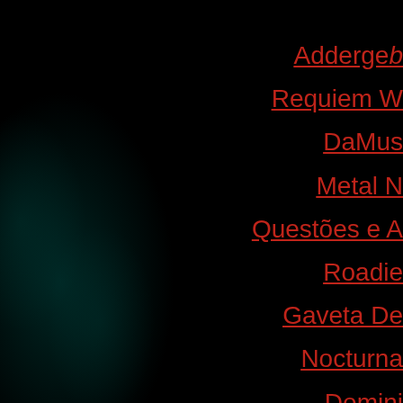[Figure (illustration): Dark background with teal/dark green atmospheric texture on the left side, resembling a misty forest or fog against a black background.]
Adderge b...
Requiem W...
DaMus...
Metal N...
Questões e A...
Roadie ...
Gaveta De ...
Nocturna...
Domini...
Rock/...